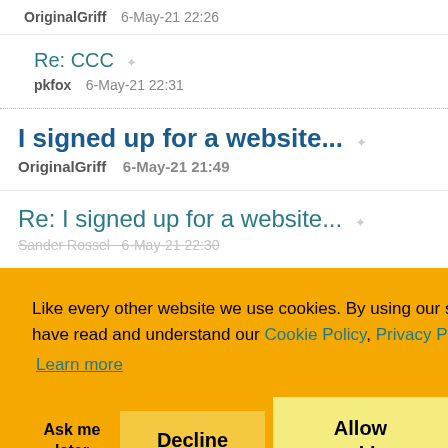OriginalGriff   6-May-21 22:26
Re: CCC
pkfox   6-May-21 22:31
I signed up for a website...
OriginalGriff   6-May-21 21:49
Re: I signed up for a website...
Sander Rossel   6-May-21 22:30
Like every other website we use cookies. By using our site you acknowledge that you have read and understand our Cookie Policy, Privacy Policy, and our Terms of Service. Learn more
Ask me later   Decline   Allow cookies